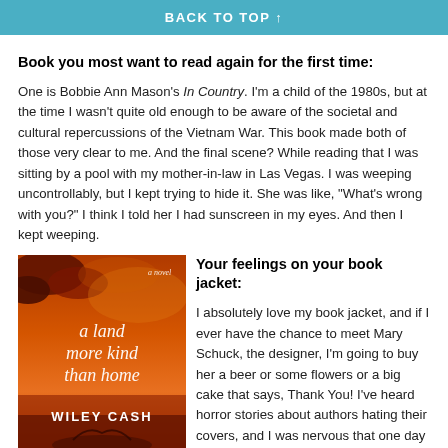BACK TO TOP ↑
Book you most want to read again for the first time:
One is Bobbie Ann Mason's In Country. I'm a child of the 1980s, but at the time I wasn't quite old enough to be aware of the societal and cultural repercussions of the Vietnam War. This book made both of those very clear to me. And the final scene? While reading that I was sitting by a pool with my mother-in-law in Las Vegas. I was weeping uncontrollably, but I kept trying to hide it. She was like, "What's wrong with you?" I think I told her I had sunscreen in my eyes. And then I kept weeping.
[Figure (illustration): Book cover of 'a land more kind than home' by Wiley Cash, with fiery red/orange sky background and white serif title text]
Your feelings on your book jacket:
I absolutely love my book jacket, and if I ever have the chance to meet Mary Schuck, the designer, I'm going to buy her a beer or some flowers or a big cake that says, Thank You! I've heard horror stories about authors hating their covers, and I was nervous that one day I'd be telling a similar story. After my editor called and